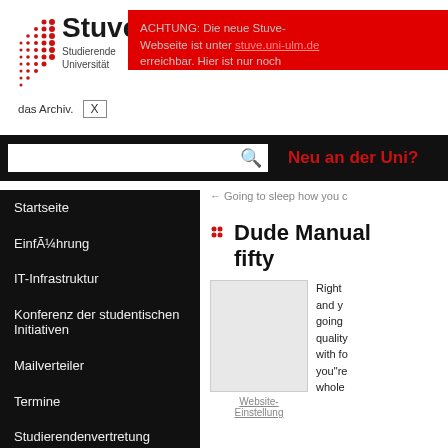[Figure (logo): Stuve logo with red dot grid and text 'Stuve Studierende Universität']
ACHTUNG: Die neue Stuve-Webseite ist unter [link] erreichbar. Hier ist nur noch das Archiv. X
← Going to sleep how you c
Neu an der Uni?
Startseite
Einführung
IT-Infrastruktur
Konferenz der studentischen Initiativen
Mailverteiler
Termine
Studierendenvertretung
Referate & Arbeitskreise
Dude Manual fifty
[Figure (photo): Thumbnail image placeholder (light grey)]
Website-Einstellung
Right and yo going quality with fo you"re whole